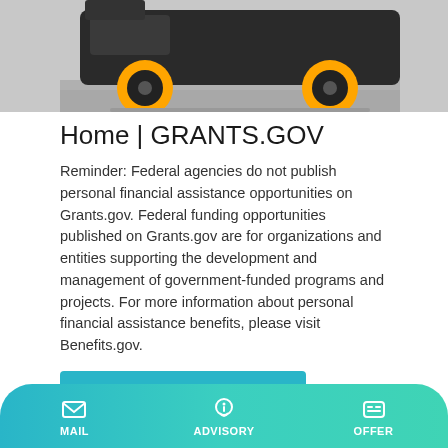[Figure (photo): Top of page: photograph of a dark construction/industrial vehicle with orange/yellow wheels on a paved surface.]
Home | GRANTS.GOV
Reminder: Federal agencies do not publish personal financial assistance opportunities on Grants.gov. Federal funding opportunities published on Grants.gov are for organizations and entities supporting the development and management of government-funded programs and projects. For more information about personal financial assistance benefits, please visit Benefits.gov.
[Figure (screenshot): Learn More button — teal/cyan rectangular button with white text.]
[Figure (photo): Bottom partial image showing a dark equipment case or box on a light grey background.]
MAIL   ADVISORY   OFFER